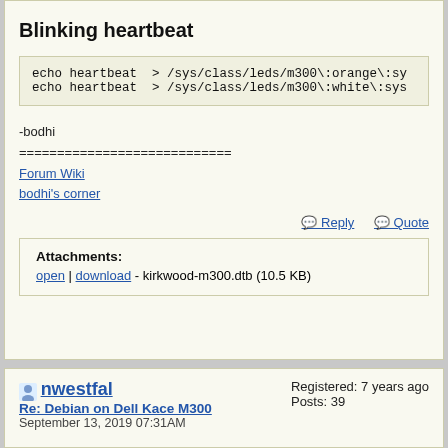Blinking heartbeat
echo heartbeat  > /sys/class/leds/m300\:orange\:sy
echo heartbeat  > /sys/class/leds/m300\:white\:sys
-bodhi
============================
Forum Wiki
bodhi's corner
Attachments:
open | download - kirkwood-m300.dtb (10.5 KB)
nwestfal
Re: Debian on Dell Kace M300
September 13, 2019 07:31AM
Registered: 7 years ago
Posts: 39